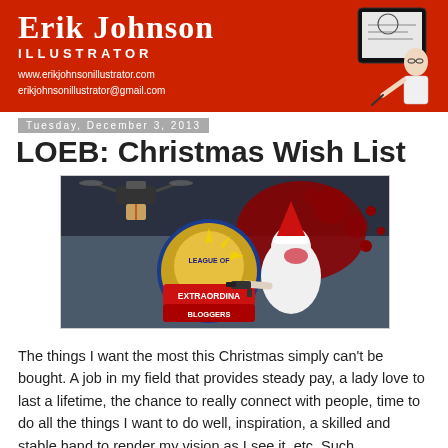Erik Johnson ILLUSTRATOR
www.erikjohnsonillustrator.com
erikjohnsonillustrator@gmail.com
Tuesday, December 3, 2013
LOEB: Christmas Wish List
[Figure (illustration): Blog banner image showing a drone, League of Extraordinary Bloggers logo, and a bloodied Santa Claus holding a gun]
The things I want the most this Christmas simply can't be bought. A job in my field that provides steady pay, a lady love to last a lifetime, the chance to really connect with people, time to do all the things I want to do well, inspiration, a skilled and stable hand to render my vision as I see it, etc. Such